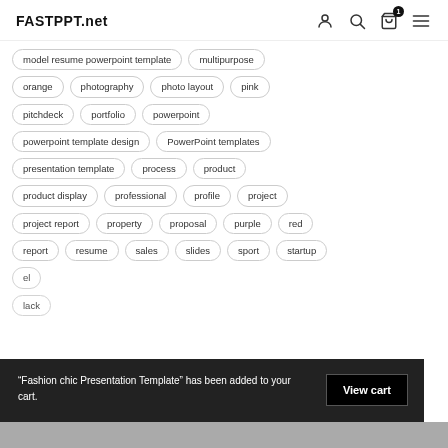FASTPPT.net
model resume powerpoint template
multipurpose
orange
photography
photo layout
pink
pitchdeck
portfolio
powerpoint
powerpoint template design
PowerPoint templates
presentation template
process
product
product display
professional
profile
project
project report
property
proposal
purple
red
report
resume
sales
slides
sport
startup
“Fashion chic Presentation Template” has been added to your cart.
View cart